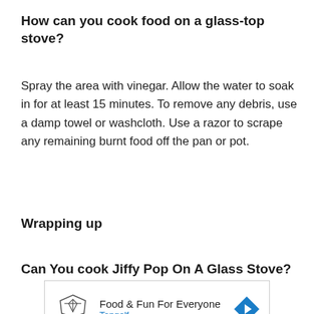How can you cook food on a glass-top stove?
Spray the area with vinegar. Allow the water to soak in for at least 15 minutes. To remove any debris, use a damp towel or washcloth. Use a razor to scrape any remaining burnt food off the pan or pot.
Wrapping up
Can You cook Jiffy Pop On A Glass Stove?
[Figure (screenshot): Advertisement box for Topgolf showing 'Food & Fun For Everyone' with Topgolf logo and a blue diamond-shaped arrow icon, plus play and close control icons.]